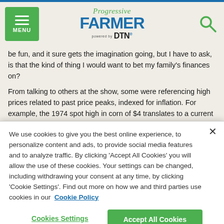Progressive FARMER powered by DTN
be fun, and it sure gets the imagination going, but I have to ask, is that the kind of thing I would want to bet my family's finances on?
From talking to others at the show, some were referencing high prices related to past price peaks, indexed for inflation. For example, the 1974 spot high in corn of $4 translates to a current price of $22 today. The 1973 high of $12.90 in soybeans is equivalent to $78.86. Does that somehow mean corn is headed to $22, and beans are going to $78? Sorry, but I just don't see the
We use cookies to give you the best online experience, to personalize content and ads, to provide social media features and to analyze traffic. By clicking 'Accept All Cookies' you will allow the use of these cookies. Your settings can be changed, including withdrawing your consent at any time, by clicking 'Cookie Settings'. Find out more on how we and third parties use cookies in our  Cookie Policy
Cookies Settings
Accept All Cookies